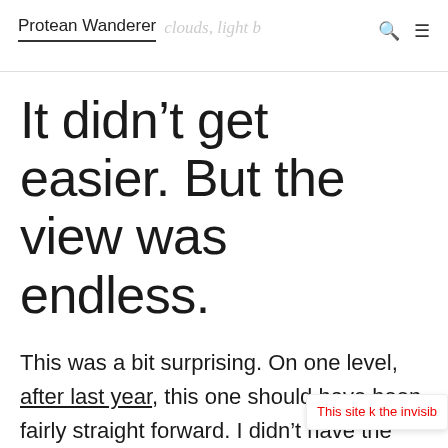Protean Wanderer
It didn’t get easier. But the view was endless.
This was a bit surprising. On one level, after last year, this one should have been fairly straight forward. I didn’t have the lengthy road-walk to get the trailhead, for one. For another, it…